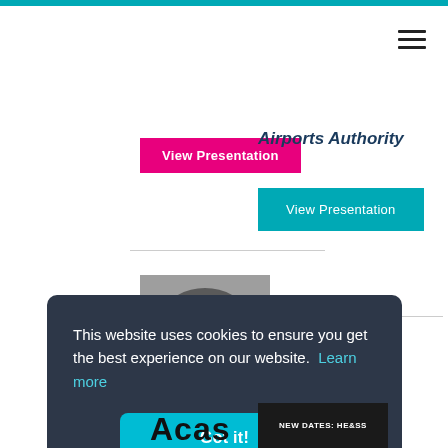View Presentation
Airports Authority
View Presentation
[Figure (photo): Headshot of a middle-aged man with gray hair against a gray background]
[Figure (photo): Headshot of a woman with blonde hair]
This website uses cookies to ensure you get the best experience on our website.  Learn more
Got it!
[Figure (logo): Acas logo text in black]
NEW DATES: HE&SS